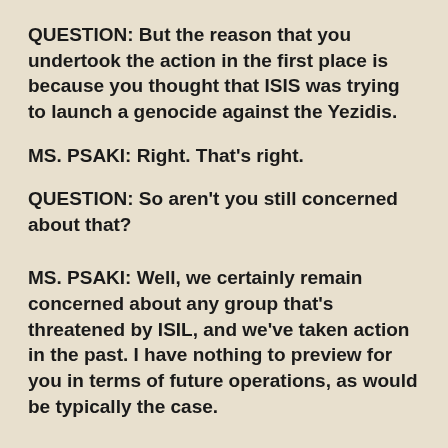QUESTION: But the reason that you undertook the action in the first place is because you thought that ISIS was trying to launch a genocide against the Yezidis.
MS. PSAKI: Right. That's right.
QUESTION: So aren't you still concerned about that?
MS. PSAKI: Well, we certainly remain concerned about any group that's threatened by ISIL, and we've taken action in the past. I have nothing to preview for you in terms of future operations, as would be typically the case.